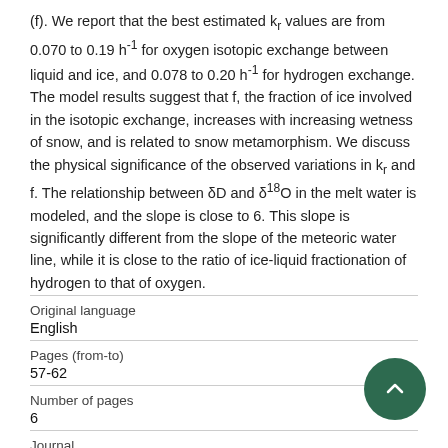(f). We report that the best estimated kr values are from 0.070 to 0.19 h⁻¹ for oxygen isotopic exchange between liquid and ice, and 0.078 to 0.20 h⁻¹ for hydrogen exchange. The model results suggest that f, the fraction of ice involved in the isotopic exchange, increases with increasing wetness of snow, and is related to snow metamorphism. We discuss the physical significance of the observed variations in kr and f. The relationship between δD and δ¹⁸O in the melt water is modeled, and the slope is close to 6. This slope is significantly different from the slope of the meteoric water line, while it is close to the ratio of ice-liquid fractionation of hydrogen to that of oxygen.
| Field | Value |
| --- | --- |
| Original language | English |
| Pages (from-to) | 57-62 |
| Number of pages | 6 |
| Journal |  |